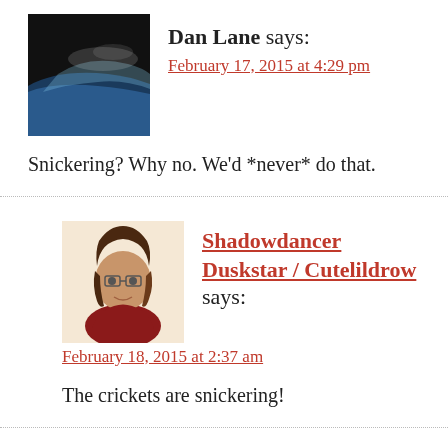[Figure (photo): Avatar image of Dan Lane showing a dark space/earth photograph]
Dan Lane says:
February 17, 2015 at 4:29 pm
Snickering? Why no. We'd *never* do that.
[Figure (illustration): Avatar image of Shadowdancer Duskstar / Cutelildrow, an illustrated female character with brown hair and glasses]
Shadowdancer Duskstar / Cutelildrow says:
February 18, 2015 at 2:37 am
The crickets are snickering!
[Figure (illustration): Avatar image of Reality Observer, a pixel art style blue icon with face]
Reality Observer says:
February 17, 2015 at 6:19 pm